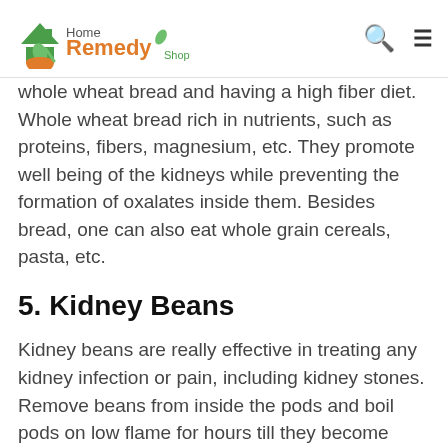Home Remedy Shop
whole wheat bread and having a high fiber diet. Whole wheat bread rich in nutrients, such as proteins, fibers, magnesium, etc. They promote well being of the kidneys while preventing the formation of oxalates inside them. Besides bread, one can also eat whole grain cereals, pasta, etc.
5. Kidney Beans
Kidney beans are really effective in treating any kidney infection or pain, including kidney stones. Remove beans from inside the pods and boil pods on low flame for hours till they become tender and soft. Now, strain the liquid and allow it to cool down. Now, again strain it once again and drink it several times a day for beneficial results. Iron in kidney beans helps in blocking the formation of oxalates. It's one of the best home remedies for kidney stones.